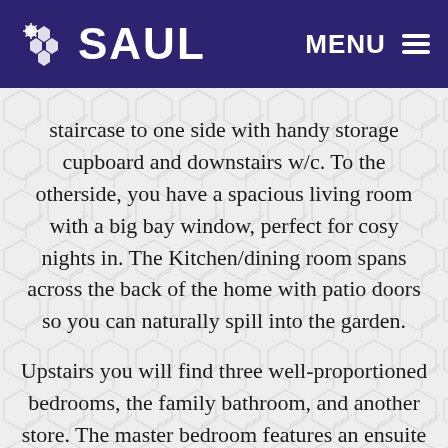SAUL — MENU
staircase to one side with handy storage cupboard and downstairs w/c. To the otherside, you have a spacious living room with a big bay window, perfect for cosy nights in. The Kitchen/dining room spans across the back of the home with patio doors so you can naturally spill into the garden.

Upstairs you will find three well-proportioned bedrooms, the family bathroom, and another store. The master bedroom features an ensuite bathroom. The generous second bedroom and third bedroom are perfect for a family to grow into, or for someone looking for